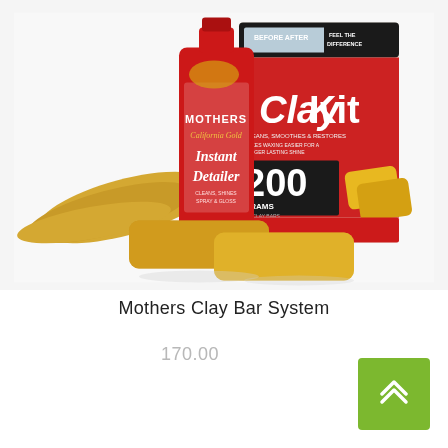[Figure (photo): Product photo of Mothers California Gold Instant Detailer bottle (red), Clay Kit box, two yellow clay bars, and a yellow microfiber cloth arranged together on a white background.]
Mothers Clay Bar System
170.00